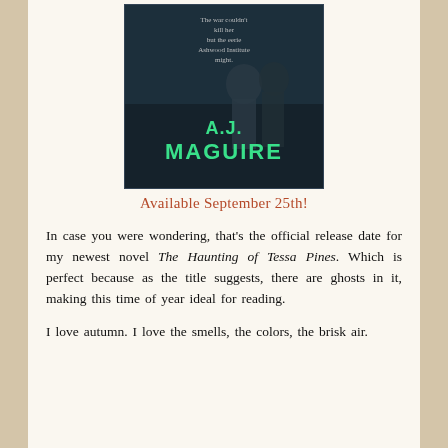[Figure (illustration): Book cover for 'The Haunting of Tessa Pines' by A.J. Maguire. Dark atmospheric cover with figures in shadow. Text reads: 'The war couldn't kill her but the eerie Ashwood Institute might.' Author name 'A.J. MAGUIRE' shown in large glowing green text.]
Available September 25th!
In case you were wondering, that's the official release date for my newest novel The Haunting of Tessa Pines. Which is perfect because as the title suggests, there are ghosts in it, making this time of year ideal for reading.
I love autumn. I love the smells, the colors, the brisk air.